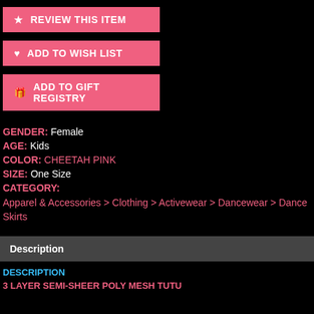REVIEW THIS ITEM
ADD TO WISH LIST
ADD TO GIFT REGISTRY
GENDER: Female
AGE: Kids
COLOR: CHEETAH PINK
SIZE: One Size
CATEGORY:
Apparel & Accessories > Clothing > Activewear > Dancewear > Dance Skirts
Description
DESCRIPTION
3 LAYER SEMI-SHEER POLY MESH TUTU